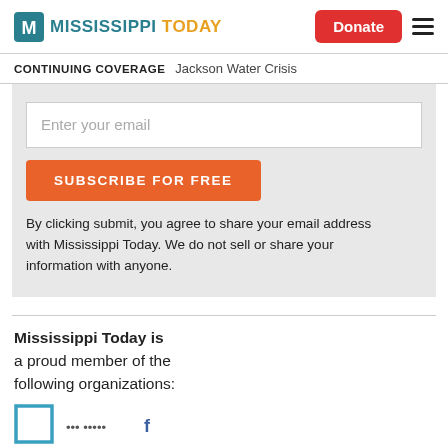Mississippi Today — Donate button, menu
CONTINUING COVERAGE   Jackson Water Crisis
Enter your email
SUBSCRIBE FOR FREE
By clicking submit, you agree to share your email address with Mississippi Today. We do not sell or share your information with anyone.
Mississippi Today is a proud member of the following organizations:
[Figure (logo): Partial logo icons at bottom of page]